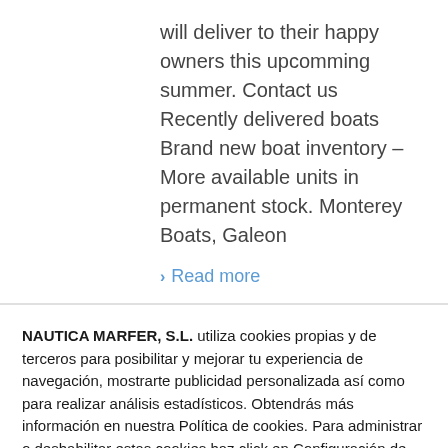will deliver to their happy owners this upcomming summer. Contact us Recently delivered boats Brand new boat inventory – More available units in permanent stock. Monterey Boats, Galeon
Read more
NAUTICA MARFER, S.L. utiliza cookies propias y de terceros para posibilitar y mejorar tu experiencia de navegación, mostrarte publicidad personalizada así como para realizar análisis estadísticos. Obtendrás más información en nuestra Política de cookies. Para administrar o deshabilitar estas cookies haz click en Configuración de Cookies.
CONFIGURACIÓN DE COOKIES   ACEPTAR